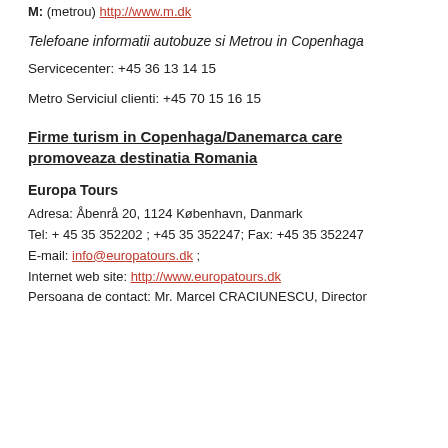M: (metrou) http://www.m.dk
Telefoane informatii autobuze si Metrou in Copenhaga
Servicecenter: +45 36 13 14 15
Metro Serviciul clienti: +45 70 15 16 15
Firme turism in Copenhaga/Danemarca care promoveaza destinatia Romania
Europa Tours
Adresa: Åbenrå 20, 1124 København, Danmark
Tel: + 45 35 352202 ; +45 35 352247; Fax: +45 35 352247
E-mail: info@europatours.dk ;
Internet web site: http://www.europatours.dk
Persoana de contact: Mr. Marcel CRACIUNESCU, Director